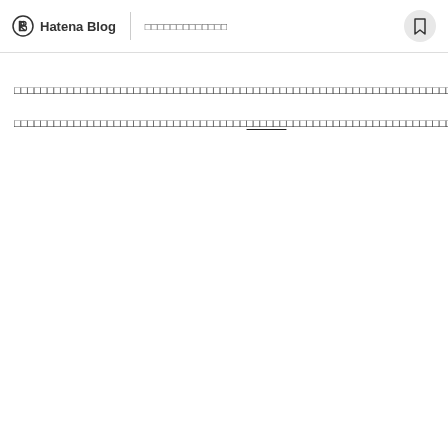Hatena Blog | □□□□□□□□□□□□□
□□□□□□□□□□□□□□□□□□□□□□□□□□□□□□□□□□□□□□□□□□□□□□□□□□□□□□□□□□□□□□□□□□□□□□□□□□□□□□□□□□□□□□□□□□□□□□□□□□□□□□□□□□□□□□□□□□□□□□□□□□□□□□□□□□□□□□□□□□□□□□□□□□□□□□□□□□□□□□□□□□□□□□□□□□□□□□□□□□□□□□□□□□□□□□□□□□□□□□□□□□□□□□□□□□□□□□□□□□□□□□□□□□□□□□□□□□□□□□□□□□□□□□□□□□□□□□□□□□□□□□□□□□□□□□□□□□□□□□□□□□□□□□□□□□□□□□□□□□□□□□□□□□□□□□□□□□□□□□□□□□□□□□□□□□□□□□□□□□□□□□□□□□□□□□□□□□□□□□□□□□□□□□□□□□□□□□□□□□□